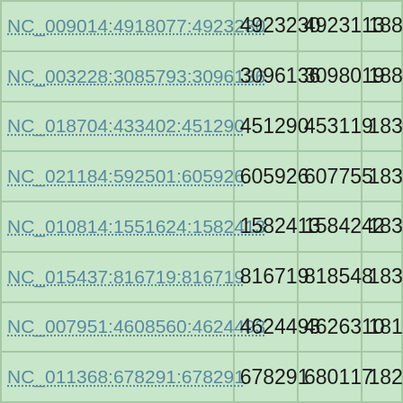| Identifier | Start | End | Length |
| --- | --- | --- | --- |
| NC_009014:4918077:4923230 | 4923230 | 4923113 | 1884 |
| NC_003228:3085793:3096136 | 3096136 | 3098019 | 1884 |
| NC_018704:433402:451290 | 451290 | 453119 | 1830 |
| NC_021184:592501:605926 | 605926 | 607755 | 1830 |
| NC_010814:1551624:1582413 | 1582413 | 1584242 | 1830 |
| NC_015437:816719:816719 | 816719 | 818548 | 1830 |
| NC_007951:4608560:4624493 | 4624493 | 4626310 | 1818 |
| NC_011368:678291:678291 | 678291 | 680117 | 1827 |